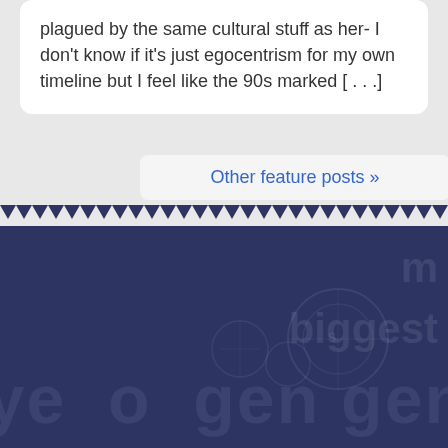plagued by the same cultural stuff as her- I don't know if it's just egocentrism for my own timeline but I feel like the 90s marked [...]
Other feature posts »
[Figure (other): Dark navy blue footer section with faint watermark text reading 'biggest' and partial word beginning with 'm', along with circular diagram outlines and large light text reading 'ye to ger gen' partially visible at bottom]